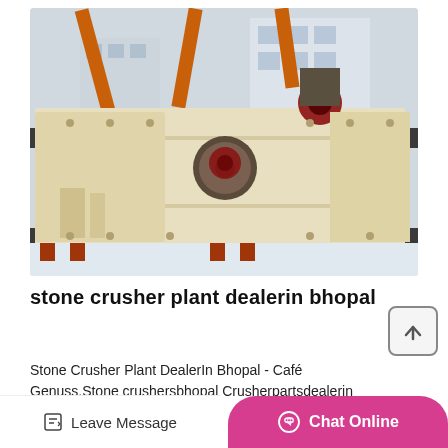[Figure (photo): Industrial stone crusher plant machinery - large yellow/cream colored vibrating screen or crusher equipment with orange crane hooks visible overhead, photographed outdoors at what appears to be a manufacturing facility]
stone crusher plant dealerin bhopal
Stone Crusher Plant DealerIn Bhopal - Café Genuss.Stone crushersbhopal Crusherpartsdealerin
Leave Message
Chat Online